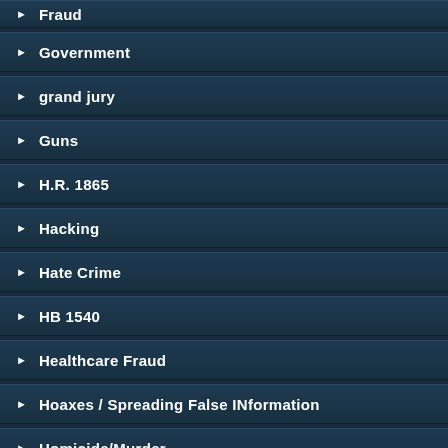Fraud
Government
grand jury
Guns
H.R. 1865
Hacking
Hate Crime
HB 1540
Healthcare Fraud
Hoaxes / Spreading False INformation
Homicide/Murder